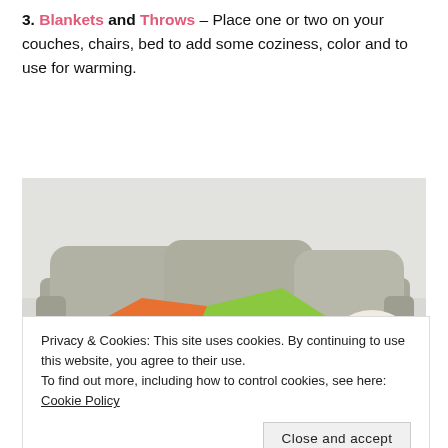3. Blankets and Throws – Place one or two on your couches, chairs, bed to add some coziness, color and to use for warming.
[Figure (photo): Photo of a grey sofa with colorful cushions – orange, green, and a floral pillow – against a light grey wall.]
Privacy & Cookies: This site uses cookies. By continuing to use this website, you agree to their use.
To find out more, including how to control cookies, see here: Cookie Policy